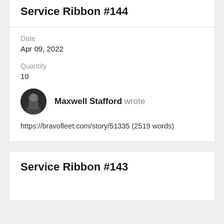Service Ribbon #144
Date
Apr 09, 2022
Quantity
10
Maxwell Stafford wrote
https://bravofleet.com/story/51335 (2519 words)
Service Ribbon #143